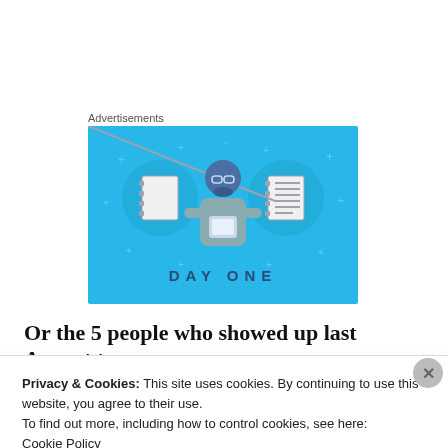Advertisements
[Figure (illustration): Day One app advertisement with light blue background showing a person holding a phone flanked by two notebook icons, with text 'DAY ONE' at the bottom]
Or the 5 people who showed up last August to
Privacy & Cookies: This site uses cookies. By continuing to use this website, you agree to their use.
To find out more, including how to control cookies, see here:
Cookie Policy
Close and accept